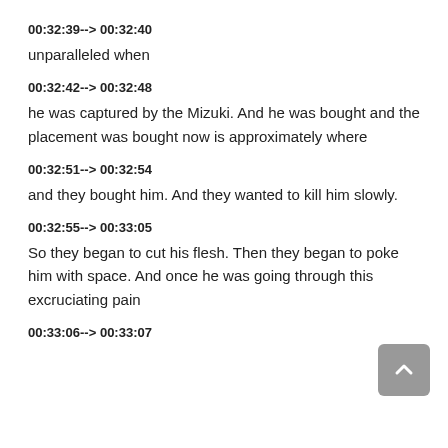00:32:39--> 00:32:40
unparalleled when
00:32:42--> 00:32:48
he was captured by the Mizuki. And he was bought and the placement was bought now is approximately where
00:32:51--> 00:32:54
and they bought him. And they wanted to kill him slowly.
00:32:55--> 00:33:05
So they began to cut his flesh. Then they began to poke him with space. And once he was going through this excruciating pain
00:33:06--> 00:33:07